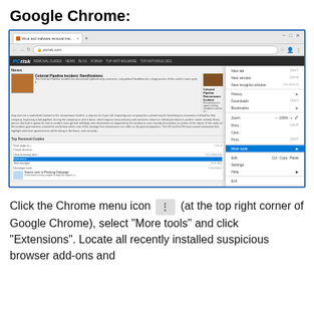Google Chrome:
[Figure (screenshot): Google Chrome browser window showing the pcrisk.com website with the Chrome three-dot menu open, highlighting 'More tools' and 'Extensions' options in the dropdown context menu.]
Click the Chrome menu icon ⋮ (at the top right corner of Google Chrome), select "More tools" and click "Extensions". Locate all recently installed suspicious browser add-ons and